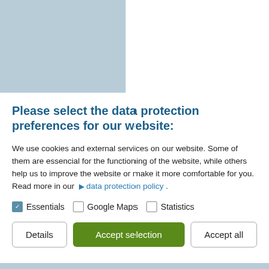[Figure (engineering-diagram): Partial engineering diagram showing 'Abluftreinigung' (exhaust air cleaning) system with a zinc kettle loading process (Beladen des Zinkkessels), featuring tanks, pipes, and filter elements on a light blue/beige background.]
Please select the data protection preferences for our website:
We use cookies and external services on our website. Some of them are essencial for the functioning of the website, while others help us to improve the website or make it more comfortable for you. Read more in our  ► data protection policy .
☑ Essentials  ☐ Google Maps  ☐ Statistics
Details | Accept selection | Accept all